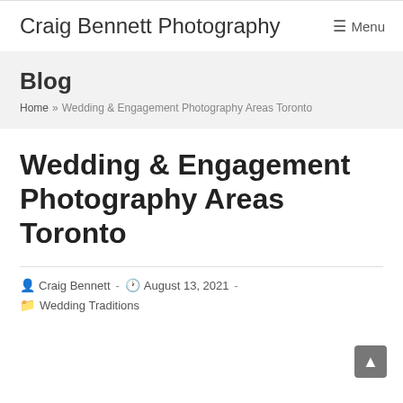Craig Bennett Photography   ☰ Menu
Blog
Home » Wedding & Engagement Photography Areas Toronto
Wedding & Engagement Photography Areas Toronto
Craig Bennett · August 13, 2021 ·
Wedding Traditions